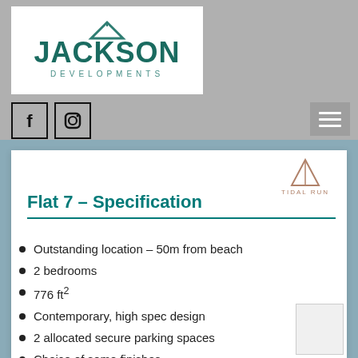[Figure (logo): Jackson Developments logo with teal house roof icon and bold teal JACKSON text with DEVELOPMENTS spaced underneath]
[Figure (infographic): Social media icons: Facebook (f) and Instagram (camera) square icons, and a hamburger menu button on the right]
[Figure (logo): Tidal Run logo - small triangular sail/mountain icon in rose-gold above text TIDAL RUN]
Flat 7 – Specification
Outstanding location – 50m from beach
2 bedrooms
776 ft²
Contemporary, high spec design
2 allocated secure parking spaces
Choice of some finishes